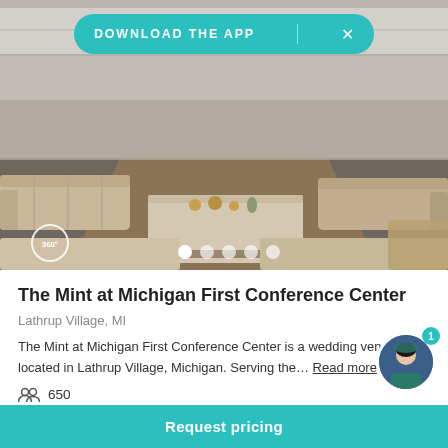[Figure (photo): Interior photo of The Mint at Michigan First Conference Center showing lounge seating area with beige sofas, coffee table with candles, hardwood dance floor, and carpeted areas. A 360° icon is visible bottom left and image carousel dots at bottom center.]
The Mint at Michigan First Conference Center
Lathrup Village, MI
The Mint at Michigan First Conference Center is a wedding venue located in Lathrup Village, Michigan. Serving the… Read more
650
Request pricing